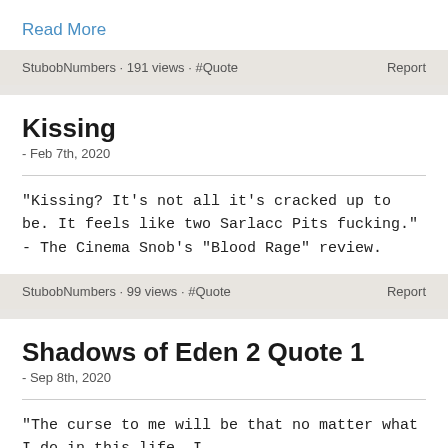Read More
StubobNumbers · 191 views · #Quote
Report
Kissing
- Feb 7th, 2020
"Kissing? It's not all it's cracked up to be. It feels like two Sarlacc Pits fucking." - The Cinema Snob's "Blood Rage" review.
StubobNumbers · 99 views · #Quote
Report
Shadows of Eden 2 Quote 1
- Sep 8th, 2020
"The curse to me will be that no matter what I do in this life, I